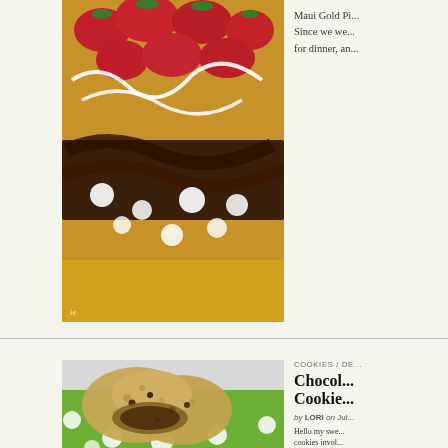[Figure (photo): Close-up photo of a dessert with strawberries, chocolate drizzle, and white cream drizzle on a yellow base]
Maui Gold Pi... Since we we... for dinner, an...
[Figure (photo): Photo of chocolate chip crispy rice cookies stacked on a green polka dot napkin/surface]
COOKIES / DE...
Chocol... Cookie...
by LORI on Jul...
Hello my swe... cookies invol... chocolate chi... Another more... I'll get to that... these were st... Start off...